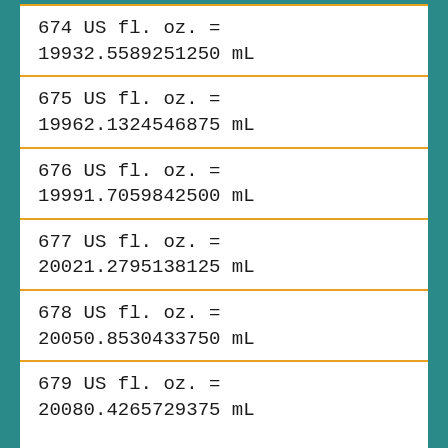674 US fl. oz. = 19932.5589251250 mL
675 US fl. oz. = 19962.1324546875 mL
676 US fl. oz. = 19991.7059842500 mL
677 US fl. oz. = 20021.2795138125 mL
678 US fl. oz. = 20050.8530433750 mL
679 US fl. oz. = 20080.4265729375 mL